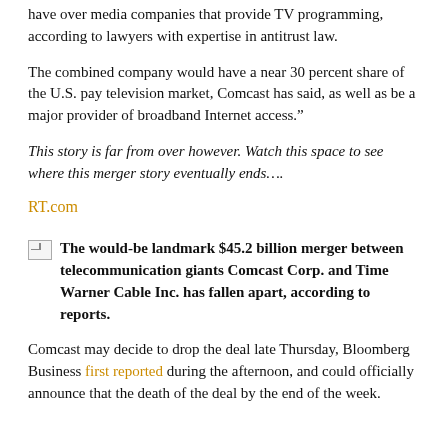have over media companies that provide TV programming, according to lawyers with expertise in antitrust law.
The combined company would have a near 30 percent share of the U.S. pay television market, Comcast has said, as well as be a major provider of broadband Internet access."
This story is far from over however. Watch this space to see where this merger story eventually ends….
RT.com
The would-be landmark $45.2 billion merger between telecommunication giants Comcast Corp. and Time Warner Cable Inc. has fallen apart, according to reports.
Comcast may decide to drop the deal late Thursday, Bloomberg Business first reported during the afternoon, and could officially announce that the death of the deal by the end of the week.